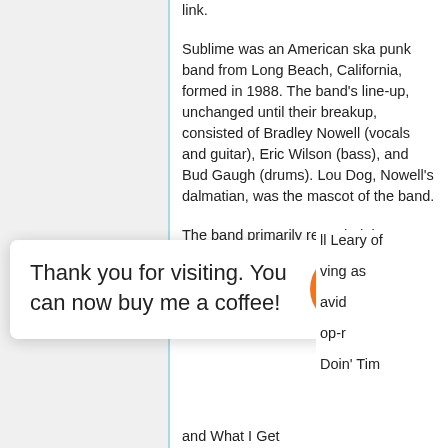link.
Sublime was an American ska punk band from Long Beach, California, formed in 1988. The band's line-up, unchanged until their breakup, consisted of Bradley Nowell (vocals and guitar), Eric Wilson (bass), and Bud Gaugh (drums). Lou Dog, Nowell's dalmatian, was the mascot of the band.
The band primarily recorded the Sublime album at Willie Nelson's Pedernales Studio in Austin, Texas, between February and May of 1996
Thank you for visiting. You can now buy me a coffee!